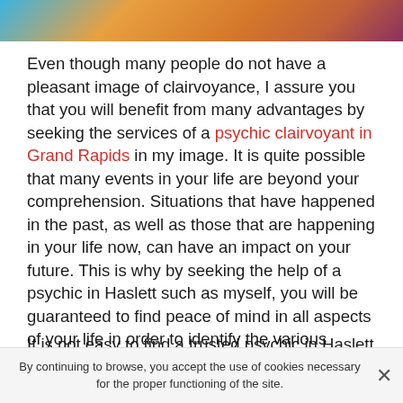[Figure (photo): Partial image strip at the top showing orange/warm tones with dried flowers and a blue corner element]
Even though many people do not have a pleasant image of clairvoyance, I assure you that you will benefit from many advantages by seeking the services of a psychic clairvoyant in Grand Rapids in my image. It is quite possible that many events in your life are beyond your comprehension. Situations that have happened in the past, as well as those that are happening in your life now, can have an impact on your future. This is why by seeking the help of a psychic in Haslett such as myself, you will be guaranteed to find peace of mind in all aspects of your life in order to identify the various obscure or misunderstood situations you are going through.
It is not easy to find a trusted psychic in Haslett. Many of them today are not at all serious and take advantage of
By continuing to browse, you accept the use of cookies necessary for the proper functioning of the site.